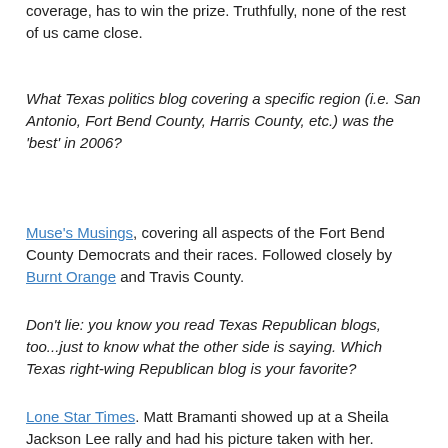coverage, has to win the prize. Truthfully, none of the rest of us came close.
What Texas politics blog covering a specific region (i.e. San Antonio, Fort Bend County, Harris County, etc.) was the 'best' in 2006?
Muse's Musings, covering all aspects of the Fort Bend County Democrats and their races. Followed closely by Burnt Orange and Travis County.
Don't lie: you know you read Texas Republican blogs, too...just to know what the other side is saying. Which Texas right-wing Republican blog is your favorite?
Lone Star Times. Matt Bramanti showed up at a Sheila Jackson Lee rally and had his picture taken with her.